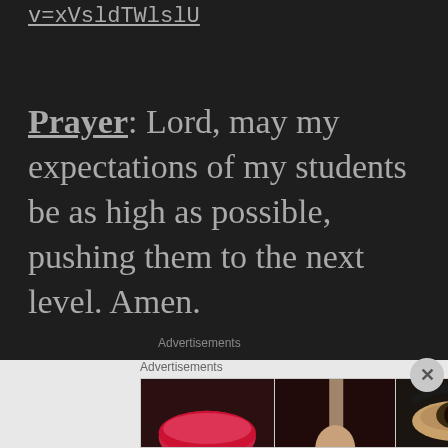v=xVsldTWlslU
Prayer: Lord, may my expectations of my students be as high as possible, pushing them to the next level. Amen.
Advertisements
Advertisements
[Figure (photo): Advertisement banner showing beauty/makeup images and ULTA logo with SHOP NOW text]